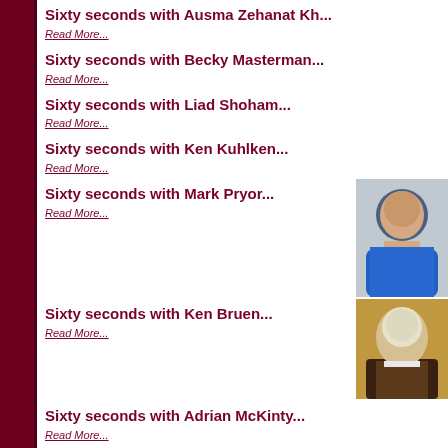Sixty seconds with Ausma Zehanat Kh...
Read More...
Sixty seconds with Becky Masterman...
Read More...
Sixty seconds with Liad Shoham...
Read More...
Sixty seconds with Ken Kuhlken...
Read More...
Sixty seconds with Mark Pryor...
[Figure (photo): Photo of Mark Pryor, man in blue shirt sitting against a wall]
Read More...
Sixty seconds with Ken Bruen...
[Figure (photo): Photo of Ken Bruen, older man with white hair in dark vest]
Read More...
Sixty seconds with Adrian McKinty...
Read More...
Sixty seconds with Michael Sears...
Read More...